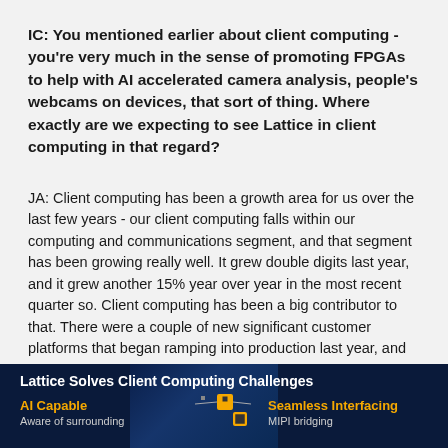IC: You mentioned earlier about client computing - you're very much in the sense of promoting FPGAs to help with AI accelerated camera analysis, people's webcams on devices, that sort of thing. Where exactly are we expecting to see Lattice in client computing in that regard?
JA: Client computing has been a growth area for us over the last few years - our client computing falls within our computing and communications segment, and that segment has been growing really well. It grew double digits last year, and it grew another 15% year over year in the most recent quarter so. Client computing has been a big contributor to that. There were a couple of new significant customer platforms that began ramping into production last year, and then are ramping into full production this year. And then we're engaged with a number of OEMs, and new client computing platforms.
[Figure (infographic): Dark navy banner titled 'Lattice Solves Client Computing Challenges' with yellow labels 'AI Capable' on the left (sub-text: 'Aware of surrounding') and 'Seamless Interfacing' on the right (sub-text: 'MIPI bridging'), with circuit/chip icons in the center middle area]